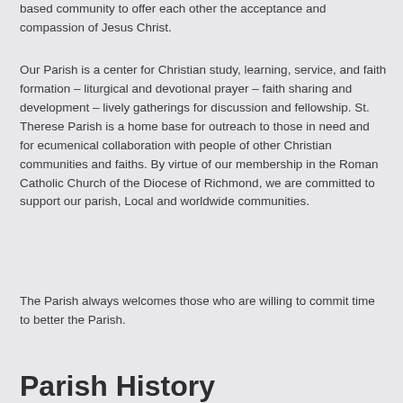based community to offer each other the acceptance and compassion of Jesus Christ.
Our Parish is a center for Christian study, learning, service, and faith formation – liturgical and devotional prayer – faith sharing and development – lively gatherings for discussion and fellowship. St. Therese Parish is a home base for outreach to those in need and for ecumenical collaboration with people of other Christian communities and faiths. By virtue of our membership in the Roman Catholic Church of the Diocese of Richmond, we are committed to support our parish, Local and worldwide communities.
The Parish always welcomes those who are willing to commit time to better the Parish.
Parish History